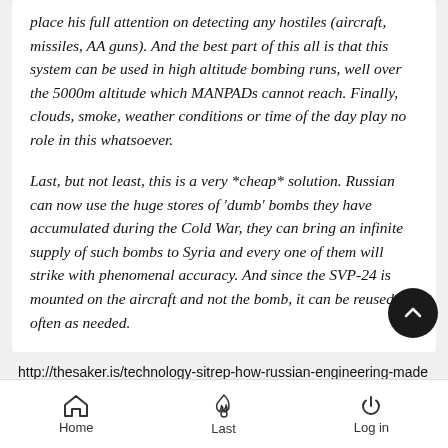place his full attention on detecting any hostiles (aircraft, missiles, AA guns).  And the best part of this all is that this system can be used in high altitude bombing runs, well over the 5000m altitude which MANPADs cannot reach.  Finally, clouds, smoke, weather conditions or time of the day play no role in this whatsoever.
Last, but not least, this is a very *cheap* solution.  Russian can now use the huge stores of 'dumb' bombs they have accumulated during the Cold War, they can bring an infinite supply of such bombs to Syria and every one of them will strike with phenomenal accuracy.  And since the SVP-24 is mounted on the aircraft and not the bomb, it can be reused as often as needed.
http://thesaker.is/technology-sitrep-how-russian-engineering-made-the-current-operation-in-syria-possible/
Home  Last  Log in